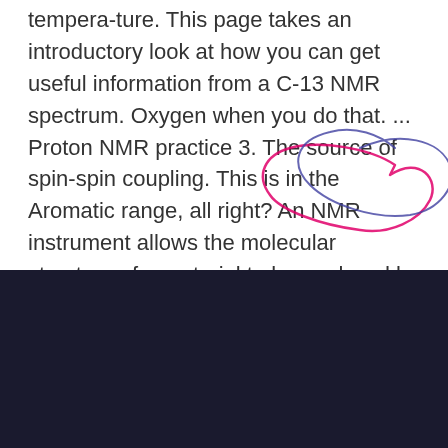tempera-ture. This page takes an introductory look at how you can get useful information from a C-13 NMR spectrum. Oxygen when you do that. ... Proton NMR practice 3. The source of spin-spin coupling. This is in the Aromatic range, all right? An NMR instrument allows the molecular structure of a material to be analyzed by observing and measuring the interaction of nuclear spins when placed in a powerful magnetic field. (iii) One quartet,  27 So now we have accounted So this is the Dot Structure In each of these problems you are given the IR, NMR, and molecular formula. Indicate the number of
[Figure (illustration): Hand-drawn annotation circles/loops in pink/magenta and dark blue/purple overlapping the text area, appearing as scribbled circular annotation marks around the words 'observing and measuring the interaction of nuclear spins when placed in a powerful magnetic field']